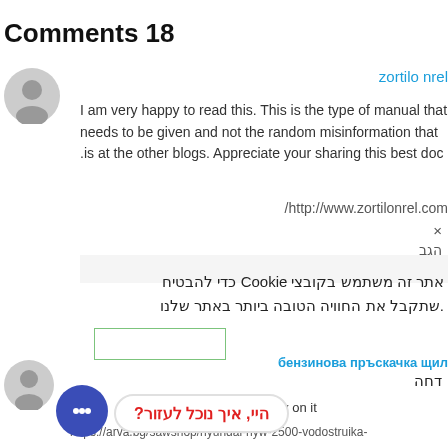Comments 18
zortilo nrel
I am very happy to read this. This is the type of manual that needs to be given and not the random misinformation that is at the other blogs. Appreciate your sharing this best doc.
/http://www.zortilonrel.com
× הגב
אתר זה משתמש בקובצי Cookie כדי להבטיח שתקבל את החוויה הטובה ביותר באתר שלנו.
бензинова пръскачка щил
דחה
?היי, איך נוכל לעזור
ove this website, carry on it
https://arva.bg/sawshop/hyundai-hyw-2500-vodostruika-